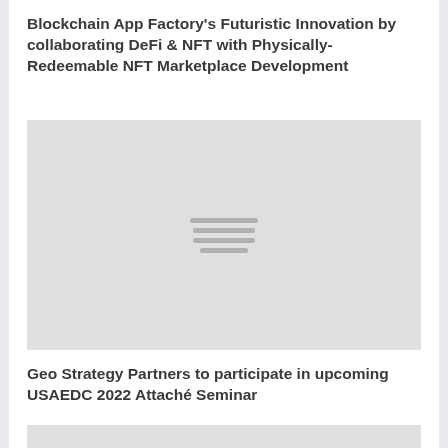Blockchain App Factory’s Futuristic Innovation by collaborating DeFi & NFT with Physically-Redeemable NFT Marketplace Development
[Figure (other): Gray placeholder image with horizontal lines icon in center]
Geo Strategy Partners to participate in upcoming USAEDC 2022 Attaché Seminar
[Figure (other): Partial gray placeholder image at bottom of page]